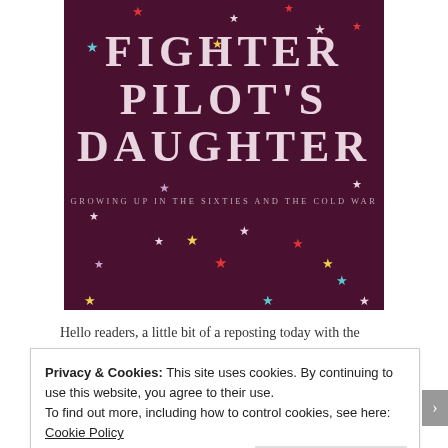[Figure (illustration): Book cover for 'Fighter Pilot's Daughter: Growing Up in the Sixties and the Cold War' — dark maroon background with colorful stars scattered around the title text in white serif uppercase letters.]
Hello readers, a little bit of a reposting today with the
Privacy & Cookies: This site uses cookies. By continuing to use this website, you agree to their use.
To find out more, including how to control cookies, see here: Cookie Policy
Close and accept